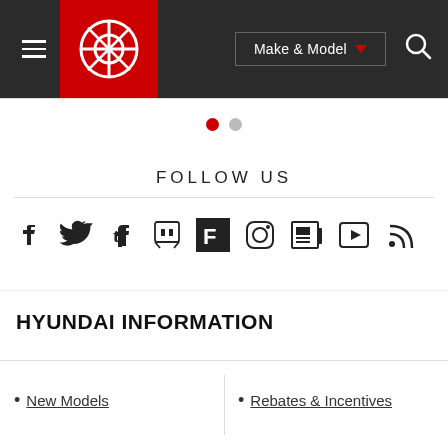[Figure (screenshot): Dark navigation bar with hamburger menu, red logo with circular icon, Make & Model dropdown button, and search icon]
[Figure (other): Pagination dots: one red (active) and one grey (inactive)]
FOLLOW US
[Figure (other): Row of social media icons: Facebook, Twitter, Tumblr, Twitch, Flipboard (black box), Instagram, Newspaper/News, Play/Video, RSS feed]
HYUNDAI INFORMATION
New Models
Rebates & Incentives